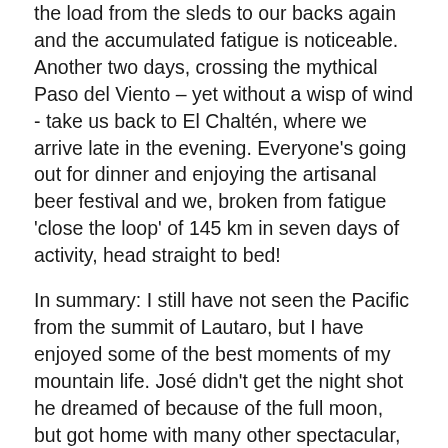the load from the sleds to our backs again and the accumulated fatigue is noticeable. Another two days, crossing the mythical Paso del Viento – yet without a wisp of wind - take us back to El Chaltén, where we arrive late in the evening. Everyone's going out for dinner and enjoying the artisanal beer festival and we, broken from fatigue 'close the loop' of 145 km in seven days of activity, head straight to bed!
In summary: I still have not seen the Pacific from the summit of Lautaro, but I have enjoyed some of the best moments of my mountain life. José didn't get the night shot he dreamed of because of the full moon, but got home with many other spectacular, award-winning images to add to his portfolio. And Pedro? He returned with batteries recharged and a new mission; to make the first solo traverse of the Fitzroy skyline, now more than ever convinced that he prefers to drag a haulbag up a wall, than carry it on his back...
So, success or failure? I am still not sure. But was it worth